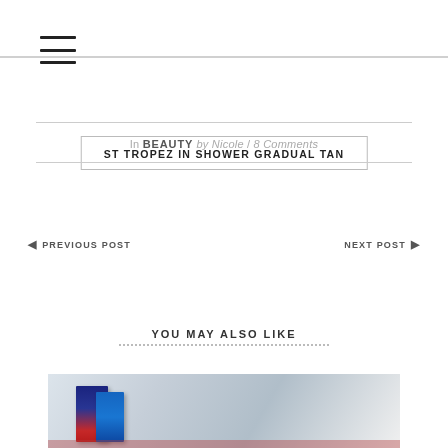menu icon
ST TROPEZ IN SHOWER GRADUAL TAN
In BEAUTY by Nicole / 8 Comments
◄ PREVIOUS POST
NEXT POST ►
YOU MAY ALSO LIKE
[Figure (photo): Photo of books on a light background, partial view]